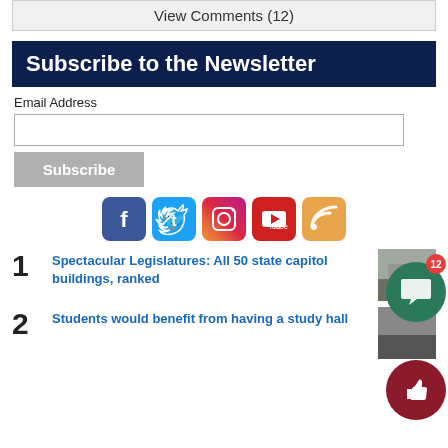View Comments (12)
Subscribe to the Newsletter
Email Address
[Figure (infographic): Social media icons: Facebook, Twitter, Instagram, YouTube, RSS]
1 Spectacular Legislatures: All 50 state capitol buildings, ranked
2 Students would benefit from having a study hall